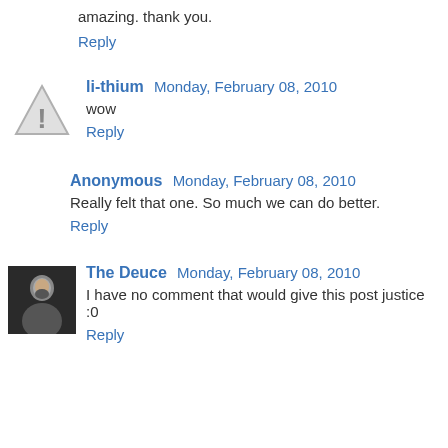amazing. thank you.
Reply
li-thium  Monday, February 08, 2010
wow
Reply
Anonymous  Monday, February 08, 2010
Really felt that one. So much we can do better.
Reply
The Deuce  Monday, February 08, 2010
I have no comment that would give this post justice :0
Reply